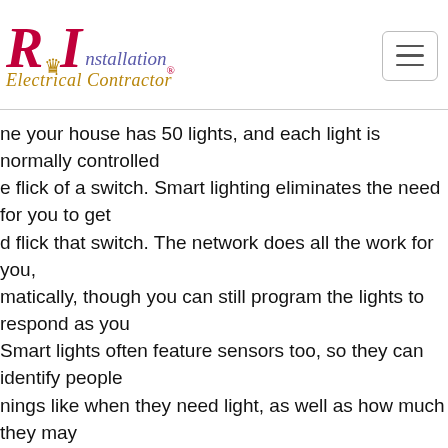[Figure (logo): Royal Installation Electrical Contractor logo with crown, stylized RI letters in red/purple, and golden cursive subtitle]
ne your house has 50 lights, and each light is normally controlled e flick of a switch. Smart lighting eliminates the need for you to get d flick that switch. The network does all the work for you, matically, though you can still program the lights to respond as you Smart lights often feature sensors too, so they can identify people nings like when they need light, as well as how much they may
hen appliances
t kitchen devices are now commonplace in the internet of t ution, with a whole host of cool connected accessories and ances up for grabs that range from smart stoves to forks and s that help you manage portion control.